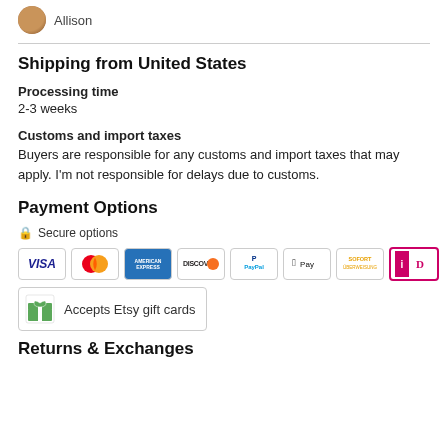Allison
Shipping from United States
Processing time
2-3 weeks
Customs and import taxes
Buyers are responsible for any customs and import taxes that may apply. I'm not responsible for delays due to customs.
Payment Options
🔒 Secure options
[Figure (infographic): Payment method icons: Visa, MasterCard, American Express, Discover, PayPal, Apple Pay, Sofort, iDeal, and Etsy gift cards]
Accepts Etsy gift cards
Returns & Exchanges